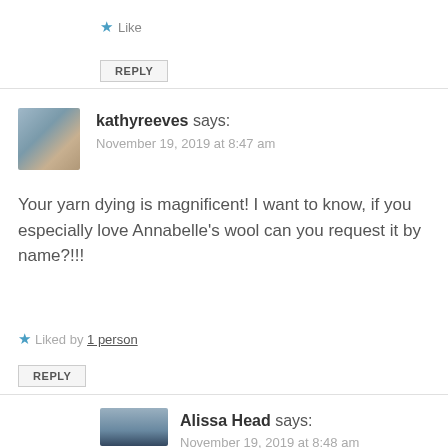★ Like
REPLY
kathyreeves says:
November 19, 2019 at 8:47 am
Your yarn dying is magnificent! I want to know, if you especially love Annabelle's wool can you request it by name?!!!
Liked by 1 person
REPLY
Alissa Head says:
November 19, 2019 at 8:48 am